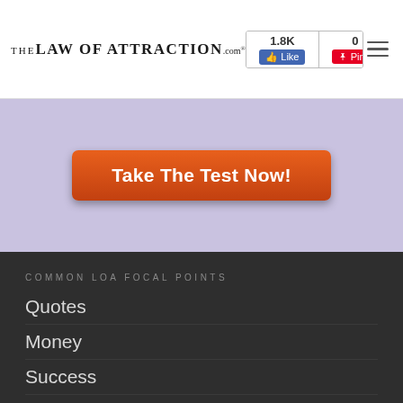TheLawOfAttraction.com | 1.8K Like | 0 Pin it
[Figure (screenshot): Orange 'Take The Test Now!' button on lavender/purple background]
COMMON LOA FOCAL POINTS
Quotes
Money
Success
Love
Health
The Secret